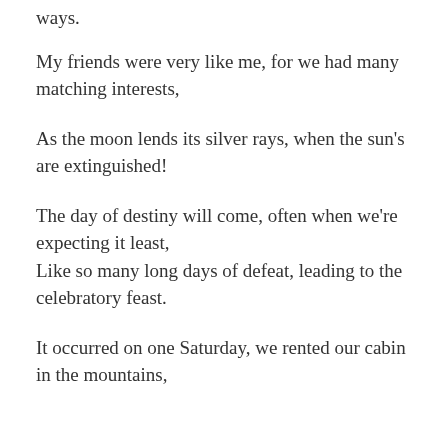ways.
My friends were very like me, for we had many matching interests,
As the moon lends its silver rays, when the sun's are extinguished!
The day of destiny will come, often when we're expecting it least,
Like so many long days of defeat, leading to the celebratory feast.
It occurred on one Saturday, we rented our cabin in the mountains,